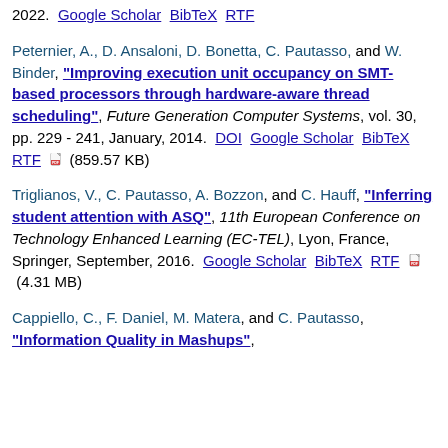(...), ..., ..., ..., ..., ..., ..., ..., 2022.  Google Scholar  BibTeX  RTF
Peternier, A., D. Ansaloni, D. Bonetta, C. Pautasso, and W. Binder, "Improving execution unit occupancy on SMT-based processors through hardware-aware thread scheduling", Future Generation Computer Systems, vol. 30, pp. 229 - 241, January, 2014.  DOI  Google Scholar  BibTeX  RTF  (859.57 KB)
Triglianos, V., C. Pautasso, A. Bozzon, and C. Hauff, "Inferring student attention with ASQ", 11th European Conference on Technology Enhanced Learning (EC-TEL), Lyon, France, Springer, September, 2016.  Google Scholar  BibTeX  RTF  (4.31 MB)
Cappiello, C., F. Daniel, M. Matera, and C. Pautasso, "Information Quality in Mashups",